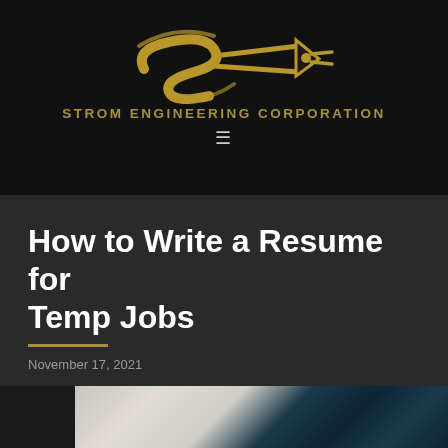[Figure (logo): Strom Engineering Corporation logo — stylized golden 'S' shape with a pen/pencil arrow motif on black background]
STROM ENGINEERING CORPORATION
[Figure (other): Hamburger menu icon (three horizontal lines) in grey on black background]
How to Write a Resume for Temp Jobs
November 17, 2021
[Figure (photo): Partial photo showing what appears to be fabric or paper in light tones on the left and dark teal/blue tones on the right]